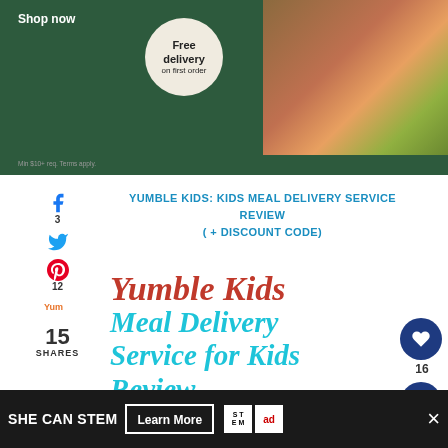[Figure (illustration): Dark green advertisement banner with 'Shop now' text, a 'Free delivery on first order' circular badge on cream background, and fruit/vegetable photo on right side. Fine print: 'Min $10+ req. Terms apply.']
YUMBLE KIDS: KIDS MEAL DELIVERY SERVICE REVIEW ( + DISCOUNT CODE)
[Figure (illustration): Decorative title image reading 'Yumble Kids' in red italic serif font and 'Meal Delivery Service for Kids Review' in cyan/teal bold italic serif font]
[Figure (photo): Bottom portion of food photos showing kids meal delivery products in containers]
[Figure (infographic): Floating right-side action bar with heart save button (count: 16) and share button]
[Figure (infographic): Left social sharing sidebar showing Facebook (3), Twitter, Pinterest (12), Yummly icons, and total 15 SHARES]
[Figure (advertisement): Bottom black bar advertisement: 'SHE CAN STEM Learn More' with STEM and Ad Council logos, and close X button]